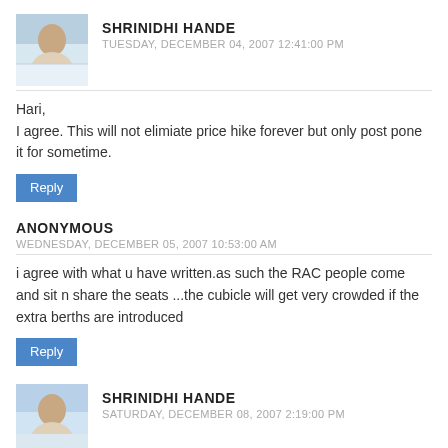SHRINIDHI HANDE
TUESDAY, DECEMBER 04, 2007 12:41:00 PM
Hari,
I agree. This will not elimiate price hike forever but only post pone it for sometime.
Reply
ANONYMOUS
WEDNESDAY, DECEMBER 05, 2007 10:53:00 AM
i agree with what u have written.as such the RAC people come and sit n share the seats ...the cubicle will get very crowded if the extra berths are introduced
Reply
SHRINIDHI HANDE
SATURDAY, DECEMBER 08, 2007 2:19:00 PM
Anaya,

Thanks.